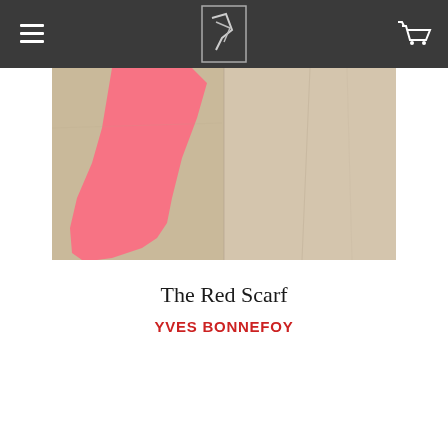[Figure (illustration): Book cover image showing an abstract painting split into two panels: left panel has a bold pink/coral irregular shape on a tan/beige background, right panel shows plain tan/beige fabric or paper texture with subtle folds.]
The Red Scarf
YVES BONNEFOY